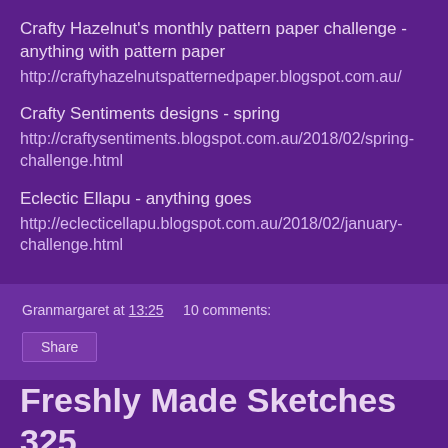Crafty Hazelnut's monthly pattern paper challenge - anything with pattern paper
http://craftyhazelnutspatternedpaper.blogspot.com.au/
Crafty Sentiments designs - spring
http://craftysentiments.blogspot.com.au/2018/02/spring-challenge.html
Eclectic Ellapu - anything goes
http://eclecticellapu.blogspot.com.au/2018/02/january-challenge.html
Granmargaret at 13:25     10 comments:
Share
Freshly Made Sketches 325
Freshly Made Sketches 325